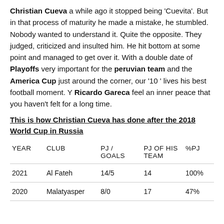Christian Cueva a while ago it stopped being 'Cuevita'. But in that process of maturity he made a mistake, he stumbled. Nobody wanted to understand it. Quite the opposite. They judged, criticized and insulted him. He hit bottom at some point and managed to get over it. With a double date of Playoffs very important for the peruvian team and the America Cup just around the corner, our '10 ' lives his best football moment. Y Ricardo Gareca feel an inner peace that you haven't felt for a long time.
This is how Christian Cueva has done after the 2018 World Cup in Russia
| YEAR | CLUB | PJ /
GOALS | PJ OF HIS
TEAM | %PJ |
| --- | --- | --- | --- | --- |
| 2021 | Al Fateh | 14/5 | 14 | 100% |
| 2020 | Malatyasper | 8/0 | 17 | 47% |